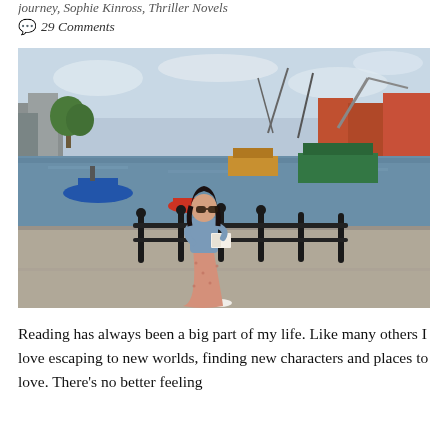journey, Sophie Kinross, Thriller Novels
💬 29 Comments
[Figure (photo): A young woman with dark hair and sunglasses wearing a denim jacket and floral midi skirt, standing on a harbourside path reading a book. Behind her is a wide harbour with boats, cranes, and buildings under a cloudy sky.]
Reading has always been a big part of my life. Like many others I love escaping to new worlds, finding new characters and places to love. There's no better feeling